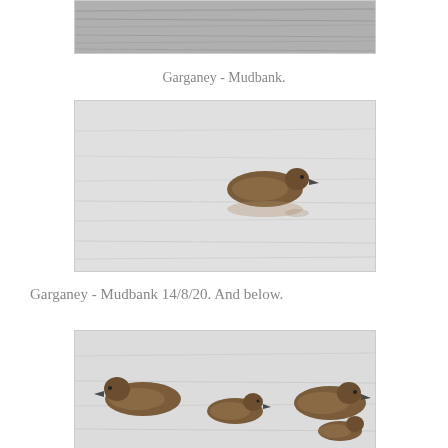[Figure (photo): Partial view of a bird (duck/garganey) on water, black and white/grey toned photo, cropped at top of page]
Garganey - Mudbank.
[Figure (photo): A single Garganey duck swimming on calm, light grey water, brown plumage visible, photographed at Mudbank on 14/8/20]
Garganey - Mudbank 14/8/20. And below.
[Figure (photo): Three Garganey ducks swimming on calm water, brown plumage, partially visible at bottom of page]